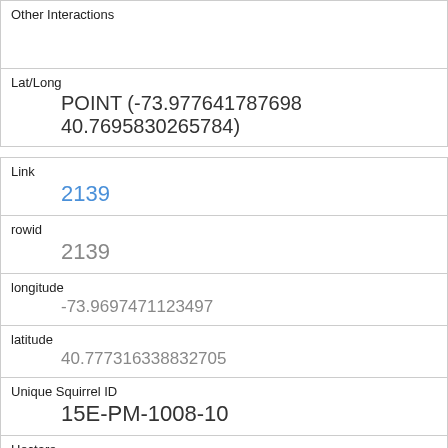| Other Interactions |  |
| Lat/Long | POINT (-73.977641787698 40.7695830265784) |
| Link | 2139 |
| rowid | 2139 |
| longitude | -73.9697471123497 |
| latitude | 40.777316338832705 |
| Unique Squirrel ID | 15E-PM-1008-10 |
| Hectare | 15E |
| Shift | PM |
| Date | 10082019 |